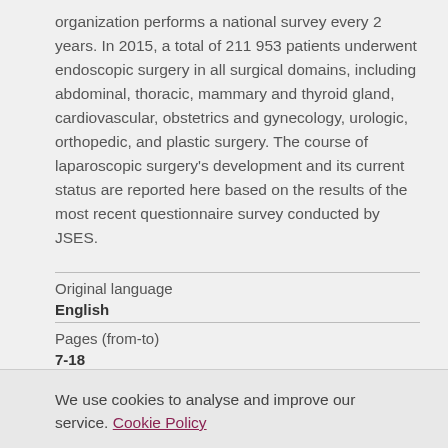organization performs a national survey every 2 years. In 2015, a total of 211 953 patients underwent endoscopic surgery in all surgical domains, including abdominal, thoracic, mammary and thyroid gland, cardiovascular, obstetrics and gynecology, urologic, orthopedic, and plastic surgery. The course of laparoscopic surgery's development and its current status are reported here based on the results of the most recent questionnaire survey conducted by JSES.
| Original language | English |
| Pages (from-to) | 7-18 |
| Number of pages | 12 |
We use cookies to analyse and improve our service. Cookie Policy